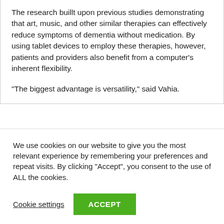The research buillt upon previous studies demonstrating that art, music, and other similar therapies can effectively reduce symptoms of dementia without medication. By using tablet devices to employ these therapies, however, patients and providers also benefit from a computer's inherent flexibility.
“The biggest advantage is versatility,” said Vahia.
We use cookies on our website to give you the most relevant experience by remembering your preferences and repeat visits. By clicking “Accept”, you consent to the use of ALL the cookies.